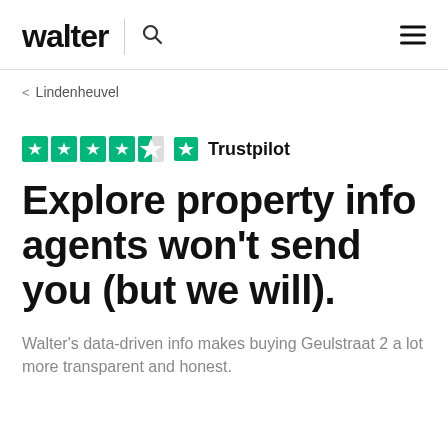walter
< Lindenheuvel
[Figure (logo): Trustpilot rating with 4.5 green stars and Trustpilot logo]
Explore property info agents won't send you (but we will).
Walter's data-driven info makes buying Geulstraat 2 a lot more transparent and honest.